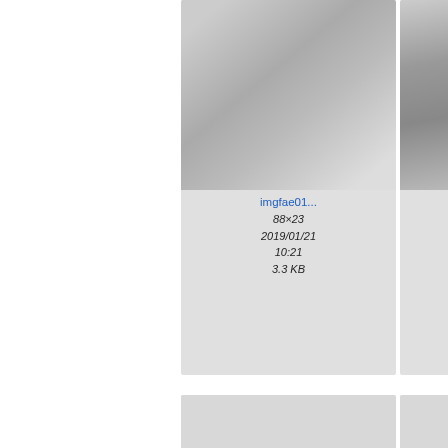[Figure (screenshot): File browser thumbnail grid showing image files with metadata. Top row: imgfae01..., imgfbade..., imgfd... (partial). Middle row: imgfdc4c..., imgff65b..., imgff4... (partial). Bottom row: two more thumbnails partially visible.]
imgfae01...
88×23
2019/01/21
10:21
3.3 KB
imgfbade...
8×9
2019/01/25
20:40
2.9 KB
imgfd...
128...
2019/...
20...
3.3...
imgfdc4c...
64×20
2018/11/19
18:50
3.2 KB
imgff65b...
647×66
2018/06/10
11:55
6.2 KB
imgff4...
98...
2019/...
10...
3.3...